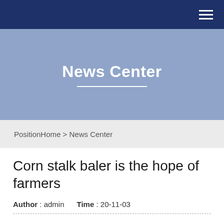Navigation bar with hamburger menu
News Center
PositionHome > News Center
Corn stalk baler is the hope of farmers
Author : admin   Time : 20-11-03
Straw recycling in farmland is one of the biggest headaches for farmers.In order not to affect land